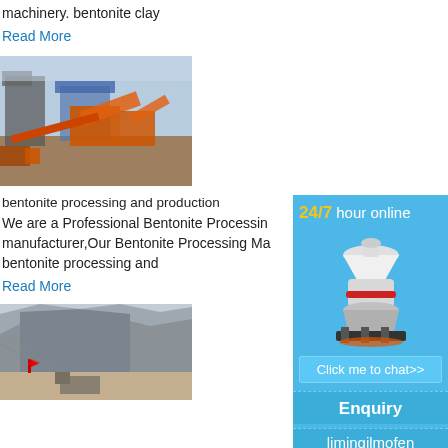machinery. bentonite clay
Read More
[Figure (photo): Industrial bentonite processing plant with orange machinery and conveyor belts on a large construction site.]
bentonite processing and production
We are a Professional Bentonite Processing manufacturer,Our Bentonite Processing Ma bentonite processing and
Read More
[Figure (photo): Mining or quarry site with steep rock face and machinery at the base.]
[Figure (other): Sidebar advertisement: 24/7 hour online with image of cone crusher machine, Click me to chat>> button, Enquiry section, limingjlmofen text.]